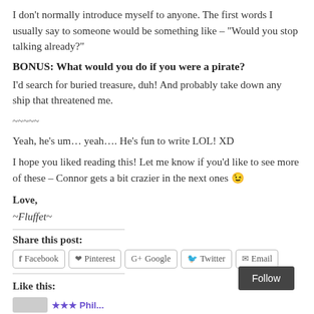I don't normally introduce myself to anyone. The first words I usually say to someone would be something like – "Would you stop talking already?"
BONUS: What would you do if you were a pirate?
I'd search for buried treasure, duh! And probably take down any ship that threatened me.
~~~~~
Yeah, he's um… yeah…. He's fun to write LOL! XD
I hope you liked reading this! Let me know if you'd like to see more of these – Connor gets a bit crazier in the next ones 😉
Love,
~Fluffet~
Share this post:
Facebook  Pinterest  Google  Twitter  Email
Like this:
Follow